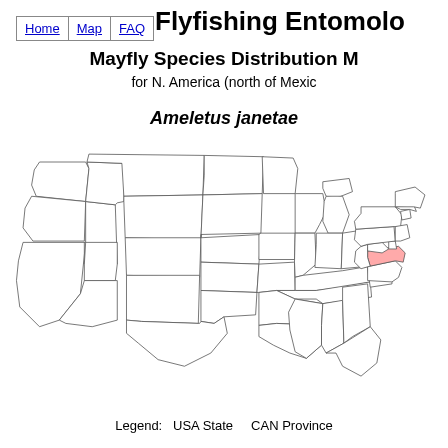Home | Map | FAQ
Flyfishing Entomology
Mayfly Species Distribution Map
for N. America (north of Mexico)
Ameletus janetae
[Figure (map): US map showing distribution of Ameletus janetae. One state on the east coast (Virginia area) is highlighted in pink/red indicating species presence. All other states shown with outlines only.]
Legend:  USA State    CAN Province